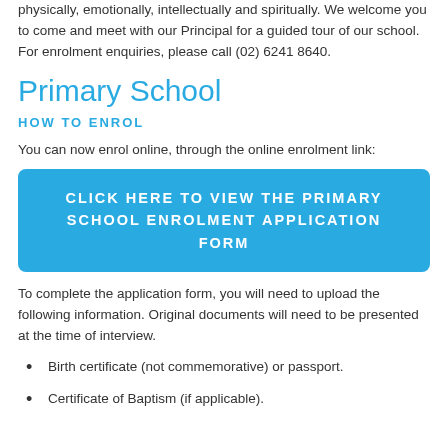physically, emotionally, intellectually and spiritually. We welcome you to come and meet with our Principal for a guided tour of our school. For enrolment enquiries, please call (02) 6241 8640.
Primary School
HOW TO ENROL
You can now enrol online, through the online enrolment link:
[Figure (other): Blue button: CLICK HERE TO VIEW THE PRIMARY SCHOOL ENROLMENT APPLICATION FORM]
To complete the application form, you will need to upload the following information. Original documents will need to be presented at the time of interview.
Birth certificate (not commemorative) or passport.
Certificate of Baptism (if applicable).